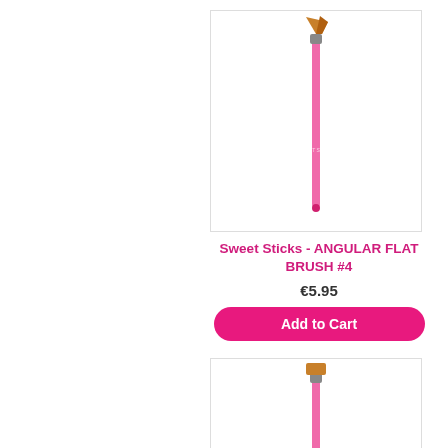[Figure (photo): Product image of Sweet Sticks Angular Flat Brush #4 with pink handle and angled bristles, shown vertically on white background]
Sweet Sticks - ANGULAR FLAT BRUSH #4
€5.95
Add to Cart
[Figure (photo): Product image of a second Sweet Sticks brush with pink handle and flat bristles, shown vertically on white background, partially visible]